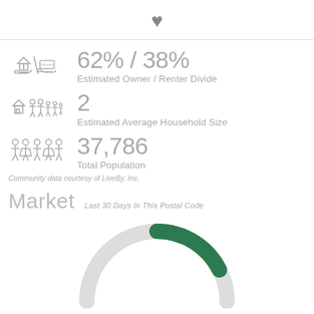[Figure (illustration): Heart icon (favorite/save) centered at top of page]
62% / 38%
Estimated Owner / Renter Divide
2
Estimated Average Household Size
37,786
Total Population
Community data courtesy of LiveBy, Inc.
Market
Last 30 Days In This Postal Code
[Figure (donut-chart): Partial donut chart (arc), dark green arc on gray background arc, market data for last 30 days in postal code, partially visible at bottom of page]